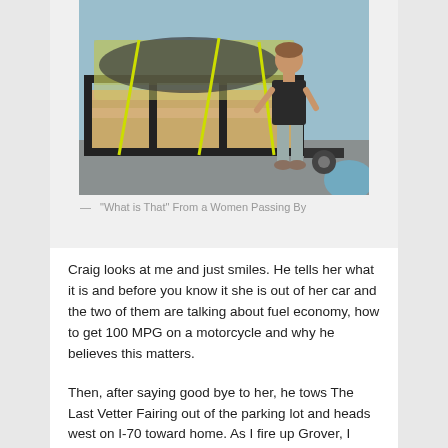[Figure (photo): A person standing next to a trailer with wooden slats and black metal frame, with a covered object strapped down with yellow straps. The person is wearing a black t-shirt and grey capri pants with sandals.]
— "What is That" From a Women Passing By
Craig looks at me and just smiles. He tells her what it is and before you know it she is out of her car and the two of them are talking about fuel economy, how to get 100 MPG on a motorcycle and why he believes this matters.
Then, after saying good bye to her, he tows The Last Vetter Fairing out of the parking lot and heads west on I-70 toward home. As I fire up Grover, I realize rebuilding this old bike opened a door for me to get a cup of coffee